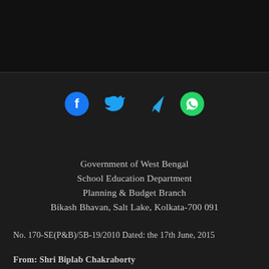[Figure (infographic): Four social media sharing icons: Facebook (blue circle with f), Twitter (blue bird), Telegram (blue paper plane), WhatsApp (green phone in circle)]
Government of West Bengal
School Education Department
Planning & Budget Branch
Bikash Bhavan, Salt Lake, Kolkata-700 091
No. 170-SE(P&B)/5B-19/2010 Dated: the 17th June, 2015
From: Shri Biplab Chakraborty